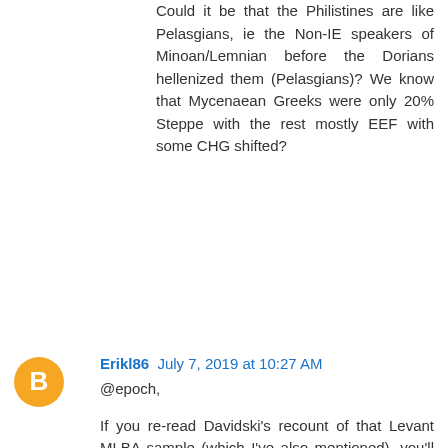Could it be that the Philistines are like Pelasgians, ie the Non-IE speakers of Minoan/Lemnian before the Dorians hellenized them (Pelasgians)? We know that Mycenaean Greeks were only 20% Steppe with the rest mostly EEF with some CHG shifted?
[Figure (other): Orange circular Blogger avatar icon with white letter B]
Erikl86 July 7, 2019 at 10:27 AM
@epoch,
If you re-read Davidski's recount of that Levant MLBA sample (which I've also mentioned), you'll see he's really not certain about either it's paternal subclade nor it's Steppe ancestry.
Judging by the now available several LBA and IA2 Ashkelon samples from Feldman et al., it appears that no significant Steppe ancestry existed in the Levant at that period and at that area. Even though the Philistines themselves did carry Steppe ancestry, it didn't last, so it seems.